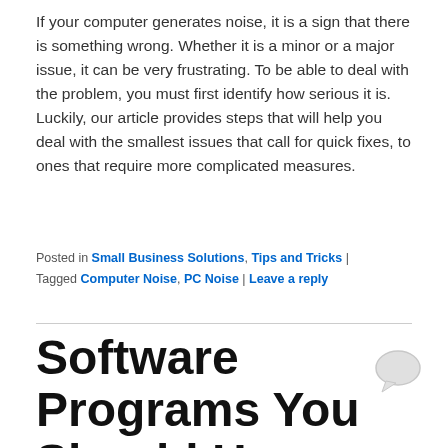If your computer generates noise, it is a sign that there is something wrong. Whether it is a minor or a major issue, it can be very frustrating. To be able to deal with the problem, you must first identify how serious it is. Luckily, our article provides steps that will help you deal with the smallest issues that call for quick fixes, to ones that require more complicated measures.
Posted in Small Business Solutions, Tips and Tricks | Tagged Computer Noise, PC Noise | Leave a reply
Software Programs You Should Have